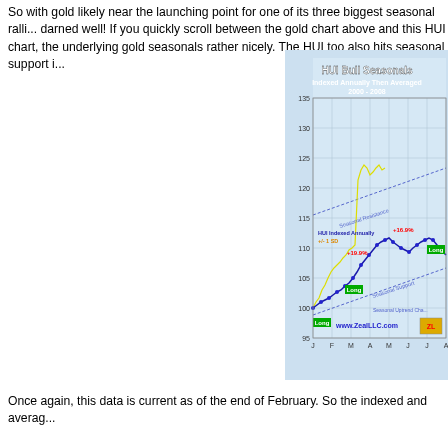So with gold likely near the launching point for one of its three biggest seasonal rallies, HUI stocks are doing darned well! If you quickly scroll between the gold chart above and this HUI chart, you can see that HUI mirrors the underlying gold seasonals rather nicely. The HUI too also hits seasonal support i...
[Figure (continuous-plot): Line chart showing HUI Bull Seasonals indexed annually then averaged 2000-2008. Shows HUI indexed annually +/- 1 SD in yellow, and average seasonal line in dark blue with dots. Chart shows seasonal resistance (upper dotted line), seasonal support (lower dotted line), and seasonal uptrend channel. Red arrows indicate three big seasonal rallies: +19.9%, +16.9%. Labels show 'Long' entry points in green. X-axis shows months J through A. Y-axis ranges from 95 to 135.]
Once again, this data is current as of the end of February. So the indexed and averaged...